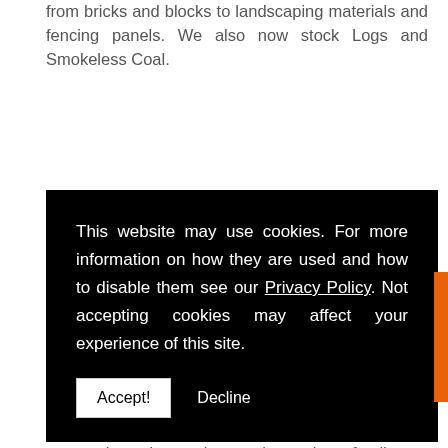from bricks and blocks to landscaping materials and fencing panels. We also now stock Logs and Smokeless Coal.
This website may use cookies. For more information on how they are used and how to disable them see our Privacy Policy. Not accepting cookies may affect your experience of this site.
of pride in being a close, family run, local builders merchants that offers the prices you would expect from a larger more well-known firm, providing the personal service and care that only a family run business can offer you. We always aim for 100% customer satisfaction and will not settle for anything less, and we are happy to provide FREE